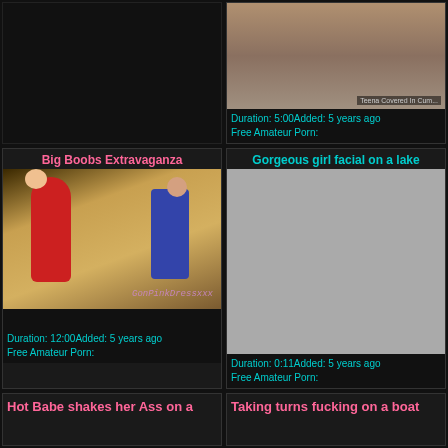[Figure (photo): Top-left black/empty area - video thumbnail not loaded]
[Figure (photo): Top-right card showing partial close-up video thumbnail with text overlay 'Teena Covered In Cum...']
Duration: 5:00Added: 5 years ago
Free Amateur Porn:
Big Boobs Extravaganza
[Figure (photo): Scene showing woman in red dress and man in blue jeans in kitchen/room setting, watermark GonPinkDressxxx]
Duration: 12:00Added: 5 years ago
Free Amateur Porn:
Gorgeous girl facial on a lake
[Figure (photo): Gray placeholder thumbnail - image not loaded]
Duration: 0:11Added: 5 years ago
Free Amateur Porn:
Hot Babe shakes her Ass on a
Taking turns fucking on a boat